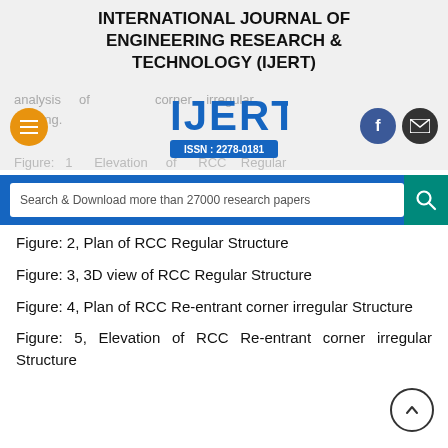INTERNATIONAL JOURNAL OF ENGINEERING RESEARCH & TECHNOLOGY (IJERT)
analysis of re-entrant corner irregular building.
Figure: 1 Elevation of RCC Regular
Search & Download more than 27000 research papers
Figure: 2, Plan of RCC Regular Structure
Figure: 3, 3D view of RCC Regular Structure
Figure: 4, Plan of RCC Re-entrant corner irregular Structure
Figure: 5, Elevation of RCC Re-entrant corner irregular Structure